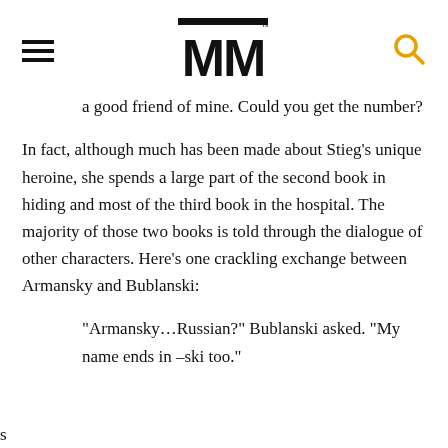MM
a good friend of mine. Could you get the number?
In fact, although much has been made about Stieg’s unique heroine, she spends a large part of the second book in hiding and most of the third book in the hospital. The majority of those two books is told through the dialogue of other characters. Here’s one crackling exchange between Armansky and Bublanski:
“Armansky…Russian?” Bublanski asked. “My name ends in –ski too.”